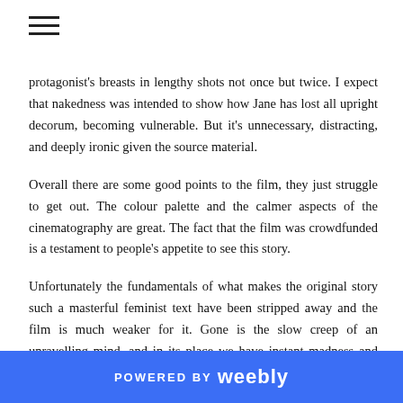≡
protagonist's breasts in lengthy shots not once but twice. I expect that nakedness was intended to show how Jane has lost all upright decorum, becoming vulnerable. But it's unnecessary, distracting, and deeply ironic given the source material.
Overall there are some good points to the film, they just struggle to get out. The colour palette and the calmer aspects of the cinematography are great. The fact that the film was crowdfunded is a testament to people's appetite to see this story.
Unfortunately the fundamentals of what makes the original story such a masterful feminist text have been stripped away and the film is much weaker for it. Gone is the slow creep of an unravelling mind, and in its place we have instant madness and constant shaky-cam. Gone is the examination of patriarchal society's treatment of women and instead we have motherhood guilt. The cause of her madness is
POWERED BY weebly